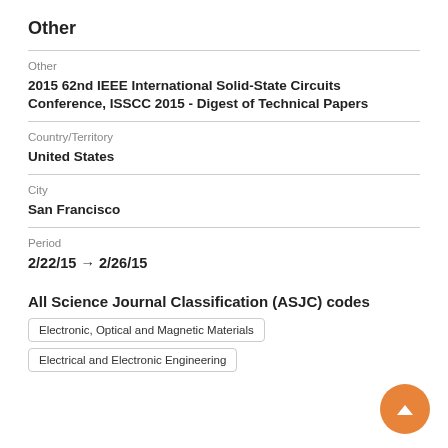Other
Other
2015 62nd IEEE International Solid-State Circuits Conference, ISSCC 2015 - Digest of Technical Papers
Country/Territory
United States
City
San Francisco
Period
2/22/15 → 2/26/15
All Science Journal Classification (ASJC) codes
Electronic, Optical and Magnetic Materials
Electrical and Electronic Engineering